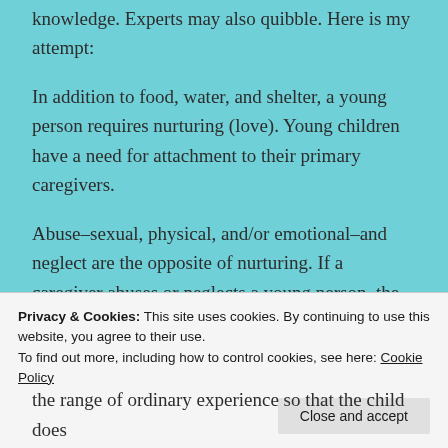knowledge. Experts may also quibble. Here is my attempt:
In addition to food, water, and shelter, a young person requires nurturing (love). Young children have a need for attachment to their primary caregivers.
Abuse–sexual, physical, and/or emotional–and neglect are the opposite of nurturing. If a caregiver abuses or neglects a young person, the young, developing brain cannot accept that caregivers could inflict such pain or allow such pain to be inflicted, and so the abuse/neglect
Privacy & Cookies: This site uses cookies. By continuing to use this website, you agree to their use.
To find out more, including how to control cookies, see here: Cookie Policy
the range of ordinary experience so that the child does